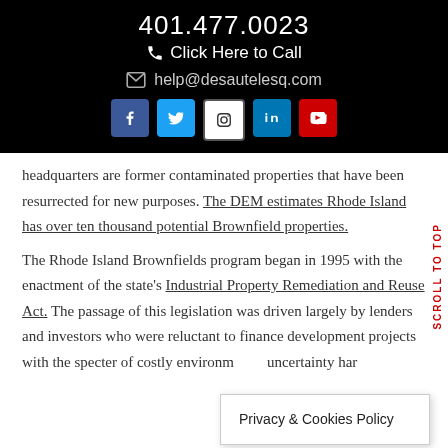401.477.0023
Click Here to Call
help@desautelesq.com
headquarters are former contaminated properties that have been resurrected for new purposes. The DEM estimates Rhode Island has over ten thousand potential Brownfield properties.
The Rhode Island Brownfields program began in 1995 with the enactment of the state's Industrial Property Remediation and Reuse Act. The passage of this legislation was driven largely by lenders and investors who were reluctant to finance development projects with the specter of costly environmental uncertainty har...
Privacy & Cookies Policy